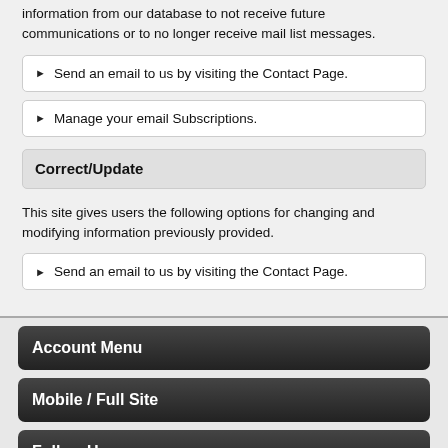information from our database to not receive future communications or to no longer receive mail list messages.
Send an email to us by visiting the Contact Page.
Manage your email Subscriptions.
Correct/Update
This site gives users the following options for changing and modifying information previously provided.
Send an email to us by visiting the Contact Page.
Account Menu
Mobile / Full Site
Follow Us
245 E. 4th Street Fremont, Nebraska 68025 United States
1-800-448-1713
© 2022 Cylinder & Slide. All rights reserved worldwide.